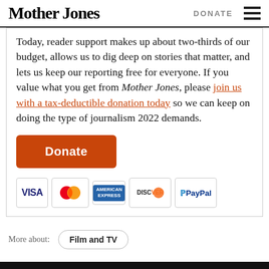Mother Jones | DONATE
Today, reader support makes up about two-thirds of our budget, allows us to dig deep on stories that matter, and lets us keep our reporting free for everyone. If you value what you get from Mother Jones, please join us with a tax-deductible donation today so we can keep on doing the type of journalism 2022 demands.
[Figure (other): Orange Donate button with payment method icons below (Visa, Mastercard, American Express, Discover, PayPal)]
More about: Film and TV